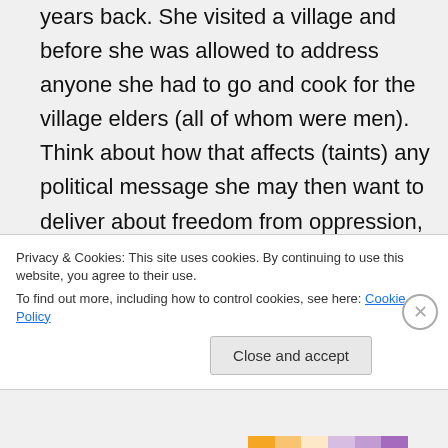years back. She visited a village and before she was allowed to address anyone she had to go and cook for the village elders (all of whom were men). Think about how that affects (taints) any political message she may then want to deliver about freedom from oppression, self actualisation etc. Additionally, when our President visited one of our more rural
Privacy & Cookies: This site uses cookies. By continuing to use this website, you agree to their use.
To find out more, including how to control cookies, see here: Cookie Policy
Close and accept